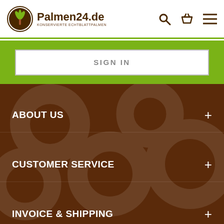Palmen24.de - KONSERVIERTE ECHTBLATTPALMEN
SIGN IN
ABOUT US
CUSTOMER SERVICE
INVOICE & SHIPPING
SOCIAL MEDIA